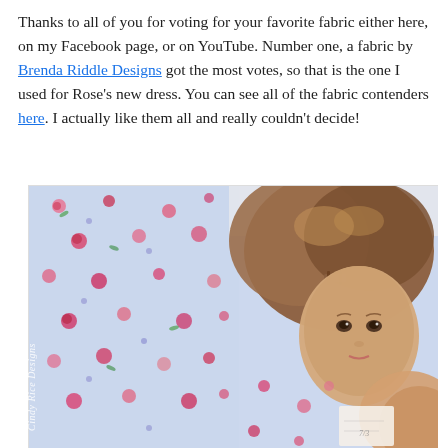Thanks to all of you for voting for your favorite fabric either here, on my Facebook page, or on YouTube. Number one, a fabric by Brenda Riddle Designs got the most votes, so that is the one I used for Rose's new dress. You can see all of the fabric contenders here. I actually like them all and really couldn't decide!
[Figure (photo): A doll with brown hair and a hair clip lying on a light blue floral fabric (pink roses, small flowers). The doll is unclothed and looking at the camera. There is a small paper/tag visible on the fabric. A watermark reading 'Cindy Rice Designs' is visible rotated along the left side.]